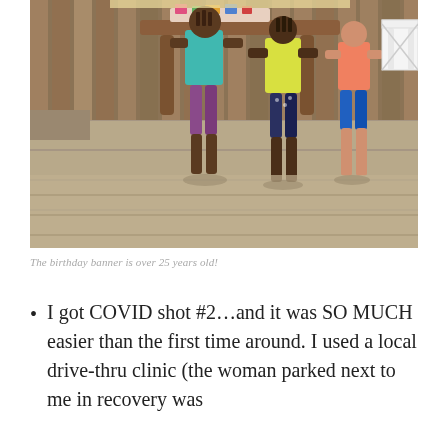[Figure (photo): Children standing at a wooden table on a deck with birthday decorations; wooden fence in background, white chair visible at right]
The birthday banner is over 25 years old!
I got COVID shot #2…and it was SO MUCH easier than the first time around. I used a local drive-thru clinic (the woman parked next to me in recovery was